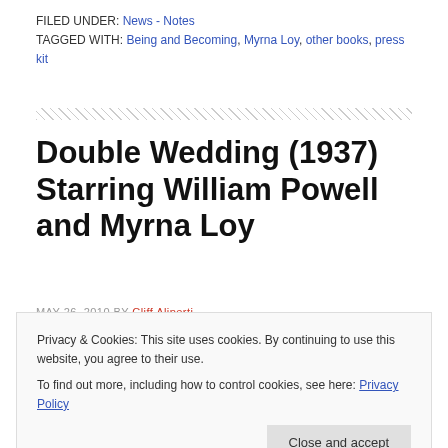FILED UNDER: News - Notes
TAGGED WITH: Being and Becoming, Myrna Loy, other books, press kit
Double Wedding (1937) Starring William Powell and Myrna Loy
MAY 26, 2010 BY Cliff Aliperti
Privacy & Cookies: This site uses cookies. By continuing to use this website, you agree to their use.
To find out more, including how to control cookies, see here: Privacy Policy
Close and accept
mark this one off as better than